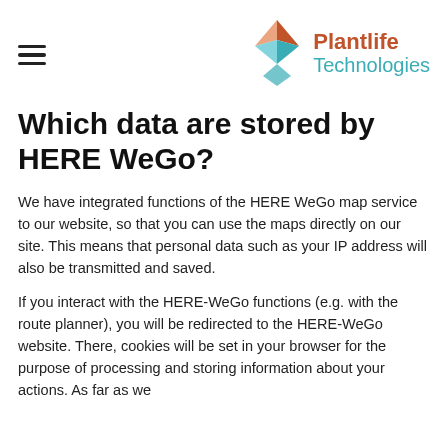Plantlife Technologies
Which data are stored by HERE WeGo?
We have integrated functions of the HERE WeGo map service to our website, so that you can use the maps directly on our site. This means that personal data such as your IP address will also be transmitted and saved.
If you interact with the HERE-WeGo functions (e.g. with the route planner), you will be redirected to the HERE-WeGo website. There, cookies will be set in your browser for the purpose of processing and storing information about your actions. As far as we